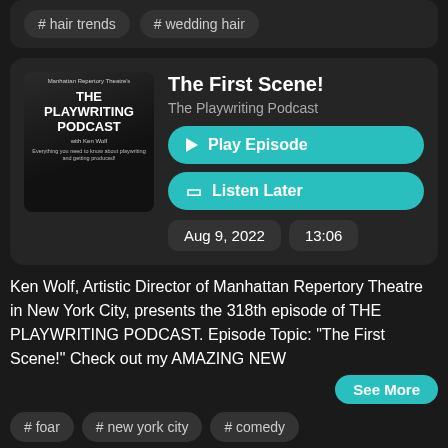# hair trends
# wedding hair
The First Scene!
The Playwriting Podcast
▶ Play Episode
🔖 Listen Later
Aug 9, 2022
13:06
Ken Wolf, Artistic Director of Manhattan Repertory Theatre in New York City, presents the 318th episode of THE PLAYWRITING PODCAST. Episode Topic: "The First Scene!" Check out my AMAZING NEW
See More
# foar
# new york city
# comedy